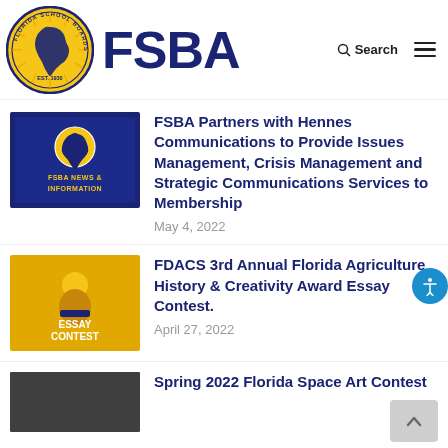[Figure (logo): FSBA header with Florida School Boards Association circular logo and FSBA text with search and menu icons]
[Figure (photo): FSBA News & Information thumbnail image with blue background and FSBA logo]
FSBA Partners with Hennes Communications to Provide Issues Management, Crisis Management and Strategic Communications Services to Membership
May 4, 2022
[Figure (illustration): Yellow Essay Contest thumbnail with student illustration]
FDACS 3rd Annual Florida Agriculture History & Creativity Award Essay Contest.
April 27, 2022
[Figure (photo): Dark photo thumbnail for Spring 2022 Florida Space Art Contest]
Spring 2022 Florida Space Art Contest